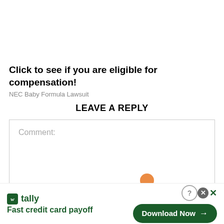Click to see if you are eligible for compensation!
NEC Baby Formula Lawsuit
LEAVE A REPLY
Comment:
[Figure (screenshot): Tally advertisement banner at the bottom: 'Fast credit card payoff' with a 'Download Now' button in dark green]
Fast credit card payoff